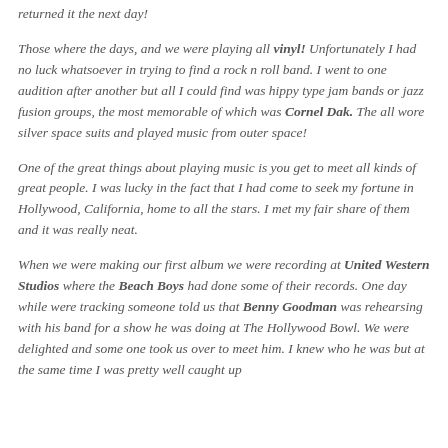returned it the next day!
Those where the days, and we were playing all vinyl! Unfortunately I had no luck whatsoever in trying to find a rock n roll band. I went to one audition after another but all I could find was hippy type jam bands or jazz fusion groups, the most memorable of which was Cornel Dak. The all wore silver space suits and played music from outer space!
One of the great things about playing music is you get to meet all kinds of great people. I was lucky in the fact that I had come to seek my fortune in Hollywood, California, home to all the stars. I met my fair share of them and it was really neat.
When we were making our first album we were recording at United Western Studios where the Beach Boys had done some of their records. One day while were tracking someone told us that Benny Goodman was rehearsing with his band for a show he was doing at The Hollywood Bowl. We were delighted and some one took us over to meet him. I knew who he was but at the same time I was pretty well caught up